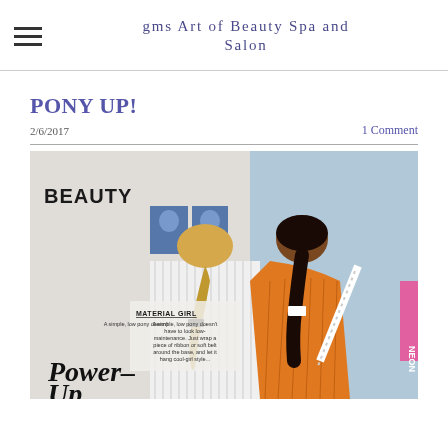gms Art of Beauty Spa and Salon
PONY UP!
2/6/2017
1 Comment
[Figure (photo): Magazine spread showing two women from behind with ponytail hairstyles. Left woman has blonde hair with a dark ribbon, wearing striped top. Right woman has dark hair, wearing orange outfit. Text on magazine reads 'BEAUTY', 'MATERIAL GIRL', and 'Power Up'.]